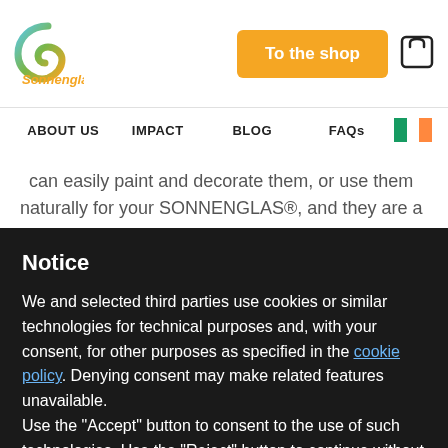[Figure (logo): Sonnenglas brand logo — circular swirl in blue/orange gradient with orange text 'Sonnenglas']
To the shop
[Figure (illustration): Shopping bag / cart icon]
ABOUT US   IMPACT   BLOG   FAQs
can easily paint and decorate them, or use them naturally for your SONNENGLAS®, and they are a
Notice
We and selected third parties use cookies or similar technologies for technical purposes and, with your consent, for other purposes as specified in the cookie policy. Denying consent may make related features unavailable.
Use the "Accept" button to consent to the use of such technologies. Use the "Reject" button to continue without accepting.
Reject
Accept
Learn more and customize